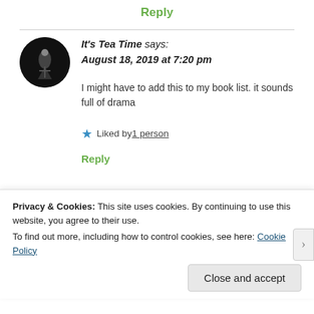Reply
It's Tea Time says:
August 18, 2019 at 7:20 pm
I might have to add this to my book list. it sounds full of drama
★ Liked by 1 person
Reply
Privacy & Cookies: This site uses cookies. By continuing to use this website, you agree to their use.
To find out more, including how to control cookies, see here: Cookie Policy
Close and accept